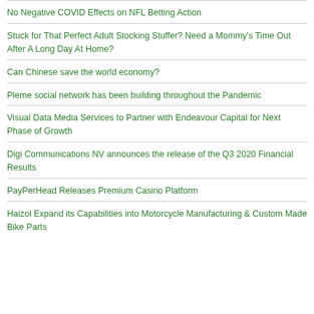No Negative COVID Effects on NFL Betting Action
Stuck for That Perfect Adult Stocking Stuffer? Need a Mommy's Time Out After A Long Day At Home?
Can Chinese save the world economy?
Pleme social network has been building throughout the Pandemic
Visual Data Media Services to Partner with Endeavour Capital for Next Phase of Growth
Digi Communications NV announces the release of the Q3 2020 Financial Results
PayPerHead Releases Premium Casino Platform
Haizol Expand its Capabilities into Motorcycle Manufacturing & Custom Made Bike Parts